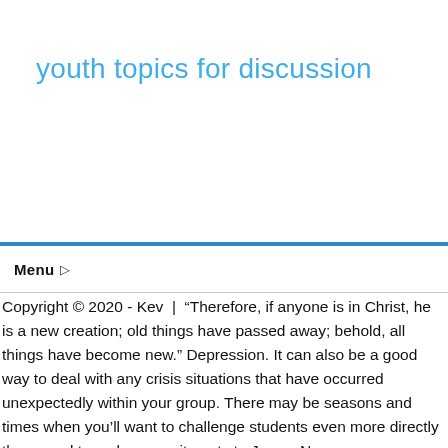youth topics for discussion
Menu
Copyright © 2020 - Kev  |  "Therefore, if anyone is in Christ, he is a new creation; old things have passed away; behold, all things have become new." Depression. It can also be a good way to deal with any crisis situations that have occurred unexpectedly within your group. There may be seasons and times when you'll want to challenge students even more directly than usual to make commitments to Jesus. New